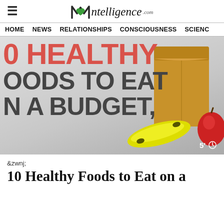≡  Mntelligence.com
HOME  NEWS  RELATIONSHIPS  CONSCIOUSNESS  SCIENCE
[Figure (photo): Hero image showing text '10 HEALTHY FOODS TO EAT ON A BUDGET' with a paper grocery bag, banana, and red apple on a gray background. Timer badge shows 5' in bottom right.]
&zwnj;
10 Healthy Foods to Eat on a